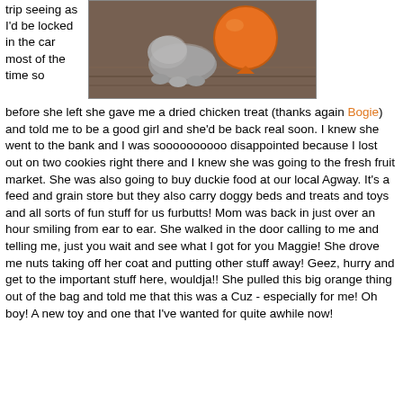trip seeing as I'd be locked in the car most of the time so
[Figure (photo): A small gray dog sniffing or playing with a large orange ball/toy on a patterned rug]
before she left she gave me a dried chicken treat (thanks again Bogie) and told me to be a good girl and she'd be back real soon. I knew she went to the bank and I was soooooooooo disappointed because I lost out on two cookies right there and I knew she was going to the fresh fruit market. She was also going to buy duckie food at our local Agway. It's a feed and grain store but they also carry doggy beds and treats and toys and all sorts of fun stuff for us furbutts! Mom was back in just over an hour smiling from ear to ear. She walked in the door calling to me and telling me, just you wait and see what I got for you Maggie! She drove me nuts taking off her coat and putting other stuff away! Geez, hurry and get to the important stuff here, wouldja!! She pulled this big orange thing out of the bag and told me that this was a Cuz - especially for me! Oh boy! A new toy and one that I've wanted for quite awhile now!